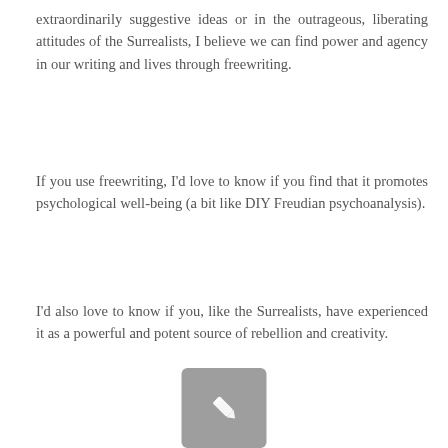extraordinarily suggestive ideas or in the outrageous, liberating attitudes of the Surrealists, I believe we can find power and agency in our writing and lives through freewriting.
If you use freewriting, I'd love to know if you find that it promotes psychological well-being (a bit like DIY Freudian psychoanalysis).
I'd also love to know if you, like the Surrealists, have experienced it as a powerful and potent source of rebellion and creativity.
[Figure (illustration): A grey rounded square button with a white pencil/edit icon in the center, partially visible at the bottom of the page.]